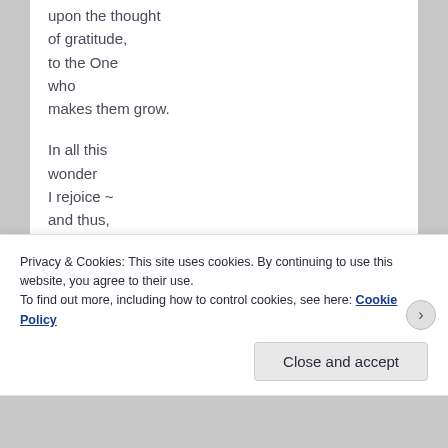upon the thought
of gratitude,
to the One
who
makes them grow.

In all this
wonder
I rejoice ~
and thus,
then sings
my soul.
~ Anna Lin
Photo at:
Privacy & Cookies: This site uses cookies. By continuing to use this website, you agree to their use.
To find out more, including how to control cookies, see here: Cookie Policy